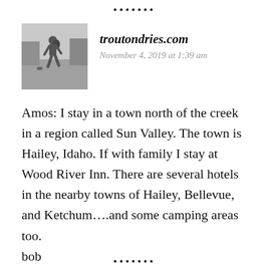•••••••
[Figure (photo): Black and white photo of a person walking near a creek or river with trees in the background]
troutondries.com
November 4, 2019 at 1:39 am
Amos: I stay in a town north of the creek in a region called Sun Valley. The town is Hailey, Idaho. If with family I stay at Wood River Inn. There are several hotels in the nearby towns of Hailey, Bellevue, and Ketchum….and some camping areas too.
bob
•••••••